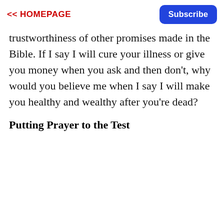<< HOMEPAGE    Subscribe
trustworthiness of other promises made in the Bible. If I say I will cure your illness or give you money when you ask and then don't, why would you believe me when I say I will make you healthy and wealthy after you're dead?
Putting Prayer to the Test